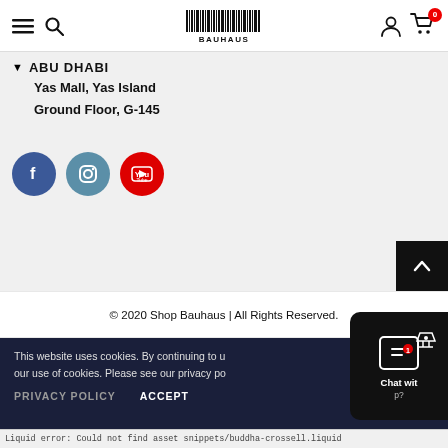[Figure (screenshot): Navigation bar with hamburger menu, search icon, BAUHAUS barcode logo, user icon, and shopping cart with 0 badge]
ABU DHABI
Yas Mall, Yas Island
Ground Floor, G-145
[Figure (illustration): Three social media icon circles: Facebook (blue), Instagram (steel blue), YouTube (red)]
[Figure (illustration): Black back-to-top arrow button in bottom right]
© 2020 Shop Bauhaus | All Rights Reserved.
This website uses cookies. By continuing to use our use of cookies. Please see our privacy po
PRIVACY POLICY     ACCEPT
[Figure (screenshot): Chat widget overlay with bag/heart icon and 1 badge, showing Chat with... help?]
Liquid error: Could not find asset snippets/buddha-crossell.liquid